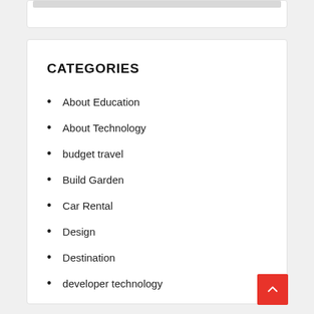CATEGORIES
About Education
About Technology
budget travel
Build Garden
Car Rental
Design
Destination
developer technology